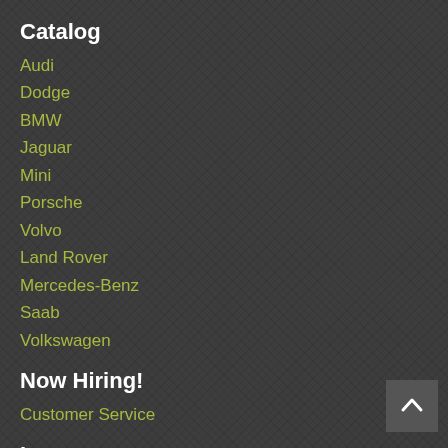Catalog
Audi
Dodge
BMW
Jaguar
Mini
Porsche
Volvo
Land Rover
Mercedes-Benz
Saab
Volkswagen
Now Hiring!
Customer Service
Learn
About Us
Customer Reviews
Repair Projects
Warranty